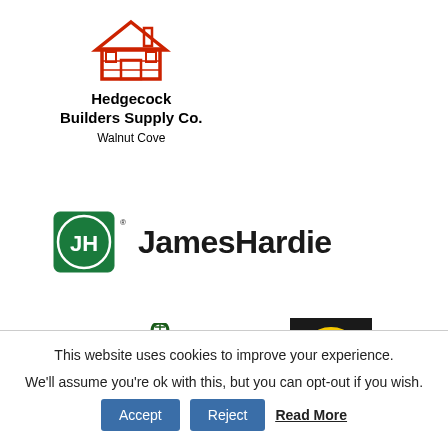[Figure (logo): Hedgecock Builders Supply Co. logo with red house icon, text 'Hedgecock Builders Supply Co.' and 'Walnut Cove']
[Figure (logo): James Hardie logo with green JH circle badge and bold black text 'JamesHardie']
[Figure (logo): Atrium Windows and Doors logo (dark green serif letters) alongside Pella logo (yellow circle on black rectangle)]
This website uses cookies to improve your experience.
We'll assume you're ok with this, but you can opt-out if you wish.
Accept | Reject | Read More